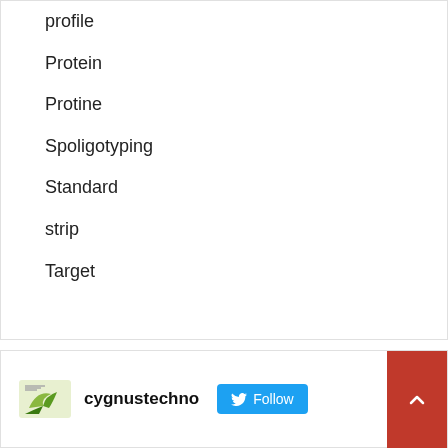profile
Protein
Protine
Spoligotyping
Standard
strip
Target
[Figure (logo): cygnustechno logo with bird/leaf icon]
cygnustechno
Follow